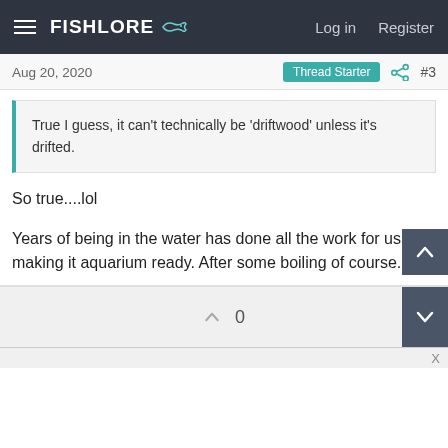FishLore  Log in  Register
Aug 20, 2020  Thread Starter  #3
True I guess, it can't technically be 'driftwood' unless it's drifted.
So true....lol

Years of being in the water has done all the work for us, making it aquarium ready. After some boiling of course.
0